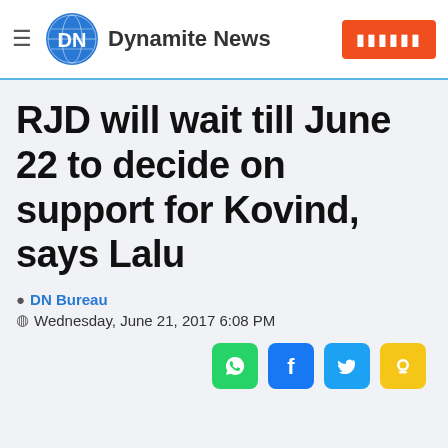Dynamite News
RJD will wait till June 22 to decide on support for Kovind, says Lalu
DN Bureau
Wednesday, June 21, 2017 6:08 PM